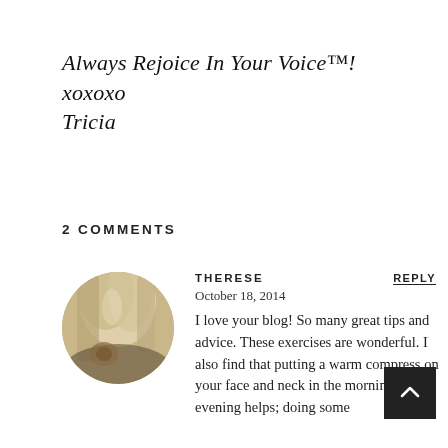Always Rejoice In Your Voice™! xoxoxo Tricia
2 COMMENTS
[Figure (photo): Circular avatar photo of a person with light hair, partially obscured, appearing to hold something, against a light background.]
THERESE
REPLY
October 18, 2014
I love your blog! So many great tips and advice. These exercises are wonderful. I also find that putting a warm compress on your face and neck in the morning and evening helps; doing some